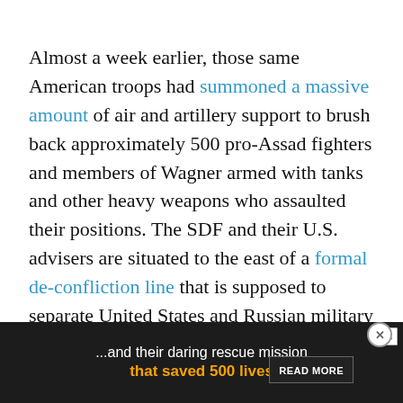Almost a week earlier, those same American troops had summoned a massive amount of air and artillery support to brush back approximately 500 pro-Assad fighters and members of Wagner armed with tanks and other heavy weapons who assaulted their positions. The SDF and their U.S. advisers are situated to the east of a formal de-confliction line that is supposed to separate United States and Russian military activities and, by extension, those of their allies, specifically to avoid these sorts of dangerous engagements that could escalate into a larger conflict. The first skirmish reportedly resulted in the deaths of dozens of Russian private military contractors, who often act as deniable stand-ins for the Kr...
[Figure (other): Advertisement banner with dark background reading '...and their daring rescue mission that saved 500 lives' with a READ MORE button]